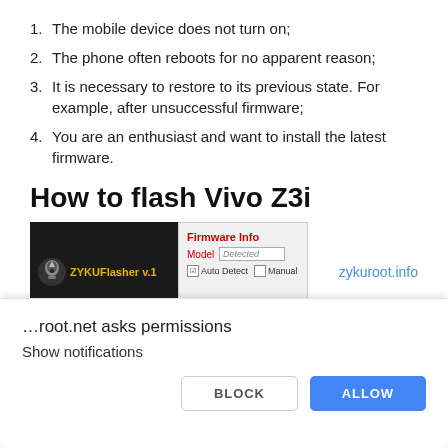1. The mobile device does not turn on;
2. The phone often reboots for no apparent reason;
3. It is necessary to restore to its previous state. For example, after unsuccessful firmware;
4. You are an enthusiast and want to install the latest firmware.
How to flash Vivo Z3i
[Figure (screenshot): Screenshot of ZYKUFlasher v.1 application showing Firmware Info panel with Model: Detected field and Auto Detect / Manual checkboxes. Site watermark: zykuroot.info]
…root.net asks permissions
Show notifications
BLOCK
ALLOW